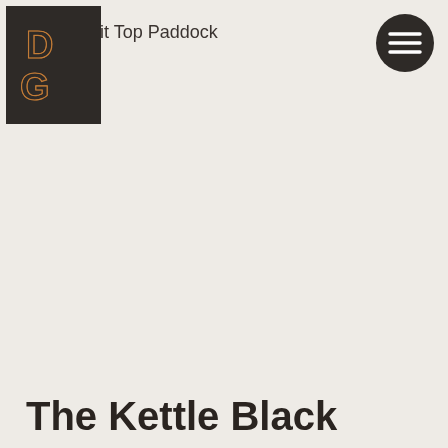[Figure (logo): DG logo with copper/bronze colored letters D and G on a dark brown/charcoal square background]
it Top Paddock
[Figure (other): Dark circular hamburger menu button with three horizontal white lines]
The Kettle Black